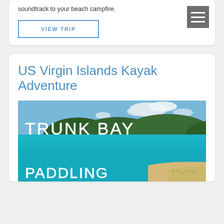soundtrack to your beach campfire.
VIEW TRIP
US Virgin Islands Kayak Adventure
[Figure (photo): Aerial photo of Trunk Bay, US Virgin Islands, showing turquoise water, sandy beach, lush green hills, and overlaid text reading TRUNK BAY and PADDLING]